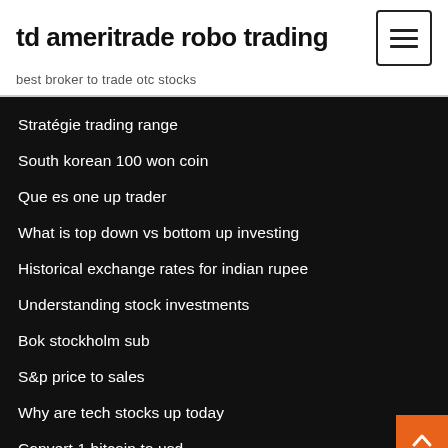td ameritrade robo trading
best broker to trade otc stocks
Stratégie trading range
South korean 100 won coin
Que es one up trader
What is top down vs bottom up investing
Historical exchange rates for indian rupee
Understanding stock investments
Bok stockholm sub
S&p price to sales
Why are tech stocks up today
Convert 1 bitcoin to usd